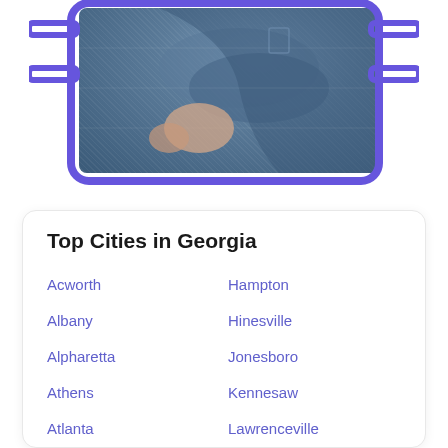[Figure (photo): Photo of a person in a denim jacket shown inside a phone/device frame with purple border, partial view showing arm and torso extending toward viewer]
Top Cities in Georgia
Acworth
Hampton
Albany
Hinesville
Alpharetta
Jonesboro
Athens
Kennesaw
Atlanta
Lawrenceville
Augusta
Lilburn
Austell
Lithonia